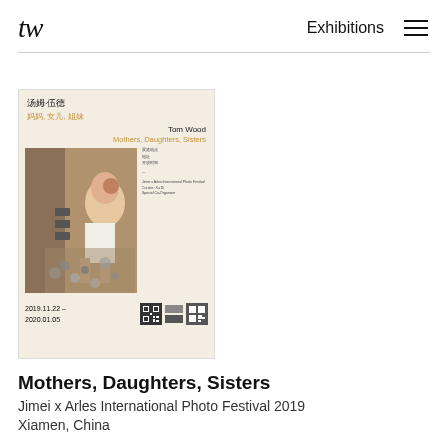tw  Exhibitions
[Figure (photo): Exhibition poster for Tom Wood 'Mothers, Daughters, Sisters' at Jimei x Arles International Photo Festival 2019, showing Chinese and English title text, a photograph of a girl among scattered objects, and dates 2019.11.22–2020.01.05 with QR codes.]
Mothers, Daughters, Sisters
Jimei x Arles International Photo Festival 2019
Xiamen, China